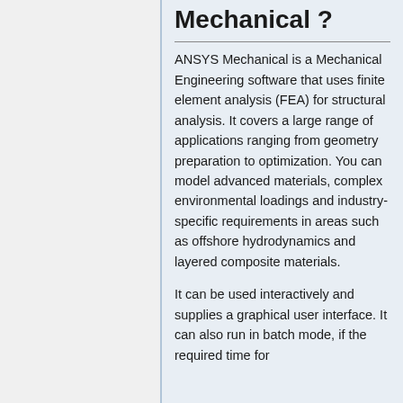Mechanical ?
ANSYS Mechanical is a Mechanical Engineering software that uses finite element analysis (FEA) for structural analysis. It covers a large range of applications ranging from geometry preparation to optimization. You can model advanced materials, complex environmental loadings and industry-specific requirements in areas such as offshore hydrodynamics and layered composite materials.
It can be used interactively and supplies a graphical user interface. It can also run in batch mode, if the required time for